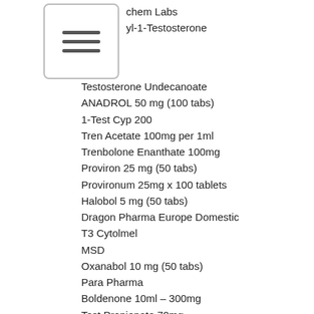chem Labs
yl-1-Testosterone
Testosterone Undecanoate
ANADROL 50 mg (100 tabs)
1-Test Cyp 200
Tren Acetate 100mg per 1ml
Trenbolone Enanthate 100mg
Proviron 25 mg (50 tabs)
Provironum 25mg x 100 tablets
Halobol 5 mg (50 tabs)
Dragon Pharma Europe Domestic
T3 Cytolmel
MSD
Oxanabol 10 mg (50 tabs)
Para Pharma
Boldenone 10ml – 300mg
Test Propionate 70mg
PCT Bundle
Alphabolin 100mg/ml x 5 amps